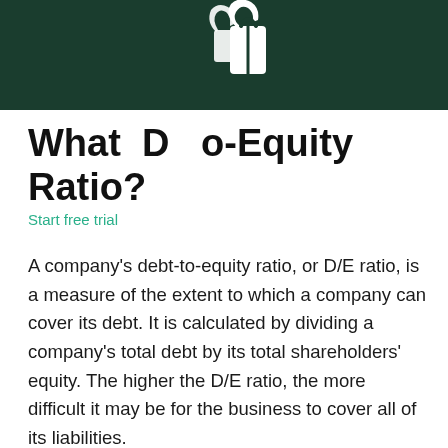[Figure (logo): White shopping bag logo icon on dark green header bar]
What Does the Debt-to-Equity Ratio?
Start free trial
A company's debt-to-equity ratio, or D/E ratio, is a measure of the extent to which a company can cover its debt. It is calculated by dividing a company's total debt by its total shareholders' equity. The higher the D/E ratio, the more difficult it may be for the business to cover all of its liabilities.